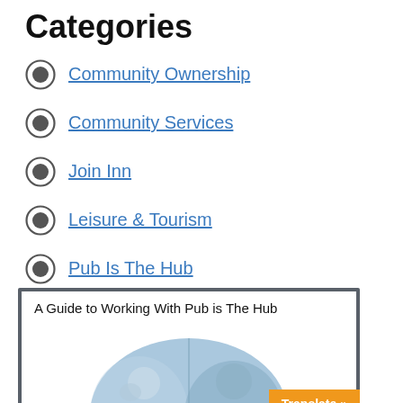Categories
Community Ownership
Community Services
Join Inn
Leisure & Tourism
Pub Is The Hub
Retail
[Figure (illustration): A card/widget with title 'A Guide to Working With Pub is The Hub' and a circular collage of community photos below, with a 'Translate »' button in the bottom right corner.]